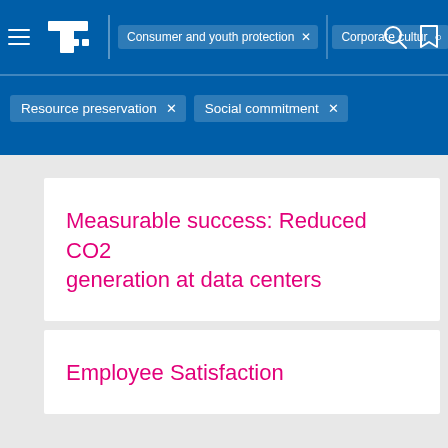Consumer and youth protection × | Corporate culture × | Resource preservation × | Social commitment ×
Measurable success: Reduced CO2 generation at data centers
Employee Satisfaction
Achieving more together: international collaboration